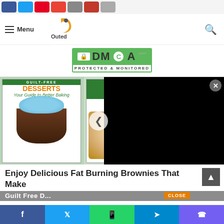Menu | Outed [logo] [search icon]
[Figure (logo): DMCA Protected & Monitored badge with green keyhole icon and circular C logo]
[Figure (photo): Book covers: Guilt-Free Desserts (cupcake cover), Better Breads, and a third cookbook. Black video overlay on right side with X close button and left navigation arrow.]
Enjoy Delicious Fat Burning Brownies That Make You...Guilt Free D...
Facebook | Twitter | WhatsApp | Telegram | Viber